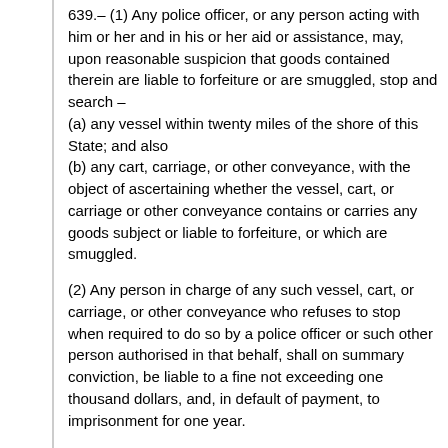639.– (1) Any police officer, or any person acting with him or her and in his or her aid or assistance, may, upon reasonable suspicion that goods contained therein are liable to forfeiture or are smuggled, stop and search –
(a) any vessel within twenty miles of the shore of this State; and also
(b) any cart, carriage, or other conveyance, with the object of ascertaining whether the vessel, cart, or carriage or other conveyance contains or carries any goods subject or liable to forfeiture, or which are smuggled.
(2) Any person in charge of any such vessel, cart, or carriage, or other conveyance who refuses to stop when required to do so by a police officer or such other person authorised in that behalf, shall on summary conviction, be liable to a fine not exceeding one thousand dollars, and, in default of payment, to imprisonment for one year.
(3) Where no such goods are found, the police officer